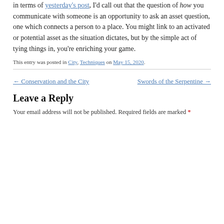in terms of yesterday's post, I'd call out that the question of how you communicate with someone is an opportunity to ask an asset question, one which connects a person to a place. You might link to an activated or potential asset as the situation dictates, but by the simple act of tying things in, you're enriching your game.
This entry was posted in City, Techniques on May 15, 2020.
← Conservation and the City     Swords of the Serpentine →
Leave a Reply
Your email address will not be published. Required fields are marked *